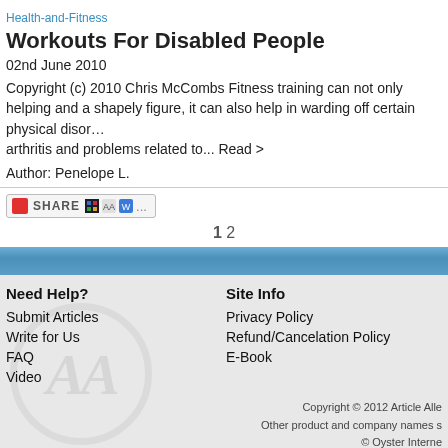Health-and-Fitness
Workouts For Disabled People
02nd June 2010
Copyright (c) 2010 Chris McCombs Fitness training can not only helping and a shapely figure, it can also help in warding off certain physical disorders, arthritis and problems related to... Read >
Author: Penelope L.
1 2
Need Help?
Submit Articles
Write for Us
FAQ
Video
Site Info
Privacy Policy
Refund/Cancelation Policy
E-Book
Copyright © 2012 Article Alle... Other product and company names s... © Oyster Interne...